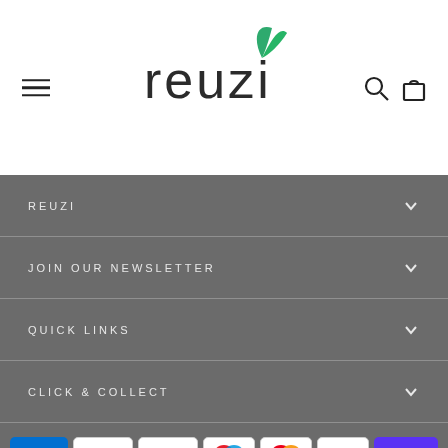[Figure (logo): Reuzi logo with green leaf icon and dark text]
REUZI
JOIN OUR NEWSLETTER
QUICK LINKS
CLICK & COLLECT
[Figure (other): Payment method icons: American Express, Apple Pay, Google Pay, Maestro, Mastercard, PayPal, Shop Pay, Visa]